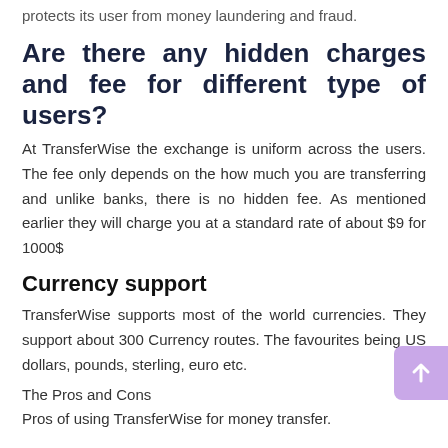protects its user from money laundering and fraud.
Are there any hidden charges and fee for different type of users?
At TransferWise the exchange is uniform across the users. The fee only depends on the how much you are transferring and unlike banks, there is no hidden fee. As mentioned earlier they will charge you at a standard rate of about $9 for 1000$
Currency support
TransferWise supports most of the world currencies. They support about 300 Currency routes. The favourites being US dollars, pounds, sterling, euro etc.
The Pros and Cons
Pros of using TransferWise for money transfer.